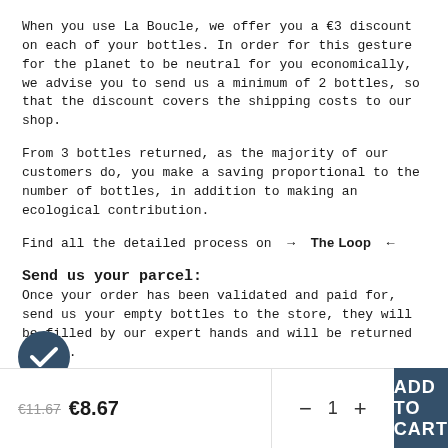When you use La Boucle, we offer you a €3 discount on each of your bottles. In order for this gesture for the planet to be neutral for you economically, we advise you to send us a minimum of 2 bottles, so that the discount covers the shipping costs to our shop.
From 3 bottles returned, as the majority of our customers do, you make a saving proportional to the number of bottles, in addition to making an ecological contribution.
Find all the detailed process on → The Loop ←
Send us your parcel:
Once your order has been validated and paid for, send us your empty bottles to the store, they will be filled by our expert hands and will be returned to you.
Do you live in the Paris region?
and fill your empty bottles directly at our shop: 68 rue de
€11.67  €8.67
- 1 +
ADD TO CART